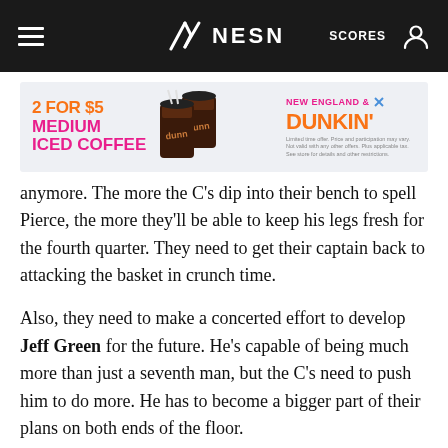NESN | SCORES
[Figure (screenshot): Dunkin' advertisement banner: '2 FOR $5 MEDIUM ICED COFFEE' with two iced coffee cups and the New England Dunkin' logo]
anymore. The more the C's dip into their bench to spell Pierce, the more they'll be able to keep his legs fresh for the fourth quarter. They need to get their captain back to attacking the basket in crunch time.
Also, they need to make a concerted effort to develop Jeff Green for the future. He's capable of being much more than just a seventh man, but the C's need to push him to do more. He has to become a bigger part of their plans on both ends of the floor.
Any thoughts on the Jeff Green situation? I feel like he could be a great addition for the future, but he still has a